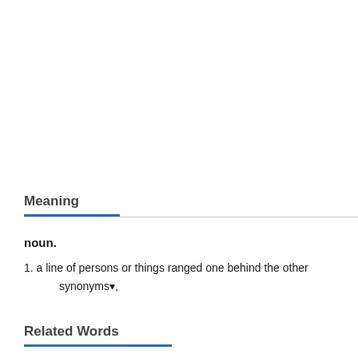Meaning
noun.
1. a line of persons or things ranged one behind the other
   synonyms▾,
Related Words